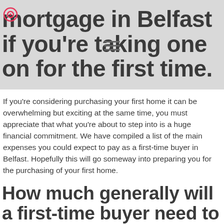mortgage in Belfast if you're taking one on for the first time.
If you're considering purchasing your first home it can be overwhelming but exciting at the same time, you must appreciate that what you're about to step into is a huge financial commitment. We have compiled a list of the main expenses you could expect to pay as a first-time buyer in Belfast. Hopefully this will go someway into preparing you for the purchasing of your first home.
How much generally will a first-time buyer need to put down as a deposit taking a